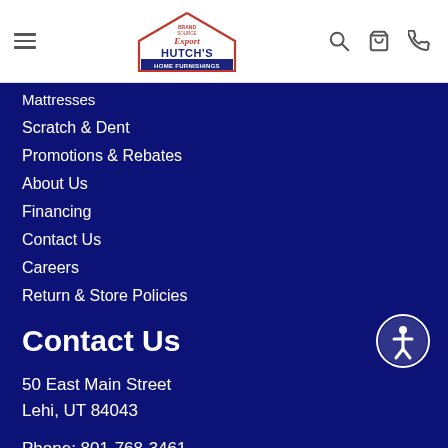[Figure (logo): Hutch's Home Furnishings logo with BrandSource and Export labels, house shape outline]
Mattresses
Scratch & Dent
Promotions & Rebates
About Us
Financing
Contact Us
Careers
Return & Store Policies
Contact Us
50 East Main Street
Lehi, UT 84043
Phone: 801-768-3461